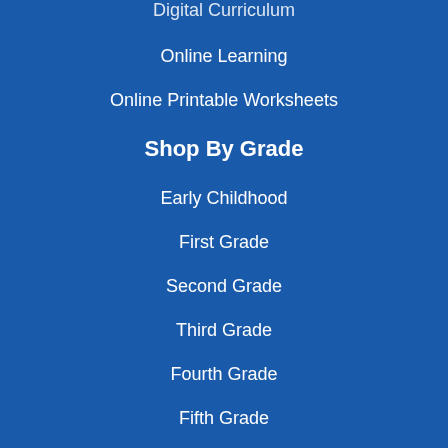Digital Curriculum
Online Learning
Online Printable Worksheets
Shop By Grade
Early Childhood
First Grade
Second Grade
Third Grade
Fourth Grade
Fifth Grade
Sixth Grade
Seventh Grade
Eighth Grade
High School